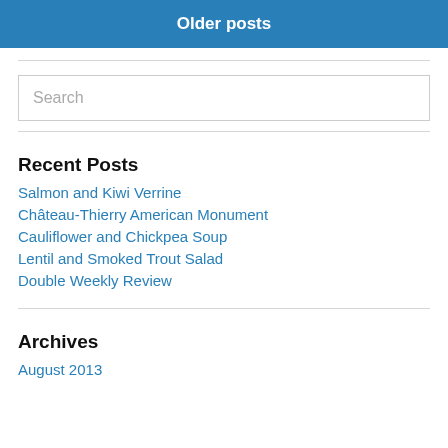Older posts
Recent Posts
Salmon and Kiwi Verrine
Château-Thierry American Monument
Cauliflower and Chickpea Soup
Lentil and Smoked Trout Salad
Double Weekly Review
Archives
August 2013